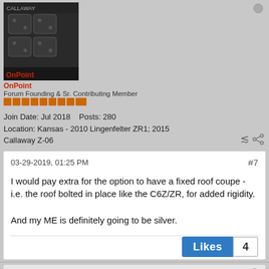[Figure (photo): Avatar photo showing a car engine, dark/black components]
OnPoint
Forum Founding & Sr. Contributing Member
Join Date: Jul 2018    Posts: 280
Location: Kansas - 2010 Lingenfelter ZR1; 2015 Callaway Z-06
03-29-2019, 01:25 PM
#7
I would pay extra for the option to have a fixed roof coupe - i.e. the roof bolted in place like the C6Z/ZR, for added rigidity.

And my ME is definitely going to be silver.
Likes  4